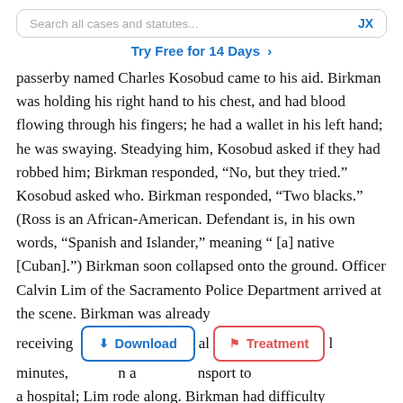Search all cases and statutes...   JX
Try Free for 14 Days >
passerby named Charles Kosobud came to his aid. Birkman was holding his right hand to his chest, and had blood flowing through his fingers; he had a wallet in his left hand; he was swaying. Steadying him, Kosobud asked if they had robbed him; Birkman responded, “No, but they tried.” Kosobud asked who. Birkman responded, “Two blacks.” (Ross is an African-American. Defendant is, in his own words, “Spanish and Islander,” meaning “[a] native [Cuban].”) Birkman soon collapsed onto the ground. Officer Calvin Lim of the Sacramento Police Department arrived at the scene. Birkman was already receiving [Download] al [Treatment] l minutes, [  ] n a [  ] nsport to a hospital; Lim rode along. Birkman had difficulty